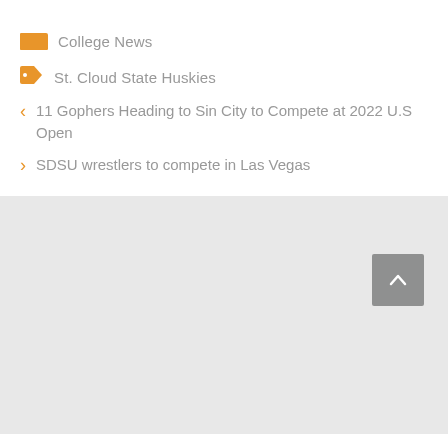College News
St. Cloud State Huskies
11 Gophers Heading to Sin City to Compete at 2022 U.S Open
SDSU wrestlers to compete in Las Vegas